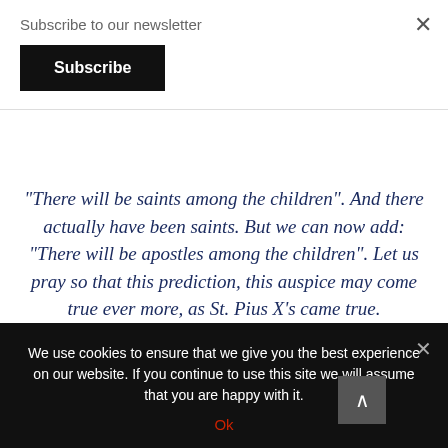Subscribe to our newsletter
Subscribe
“There will be saints among the children”. And there actually have been saints. But we can now add: “There will be apostles among the children”. Let us pray so that this prediction, this auspice may come true ever more, as St. Pius X’s came true.
(Saint Pope John II)
We use cookies to ensure that we give you the best experience on our website. If you continue to use this site we will assume that you are happy with it.
Ok